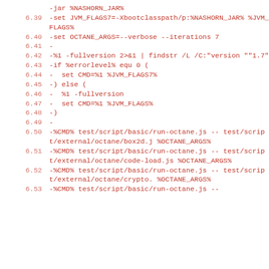-jar %NASHORN_JAR%
6.39  -set JVM_FLAGS7=-Xbootclasspath/p:%NASHORN_JAR% %JVM_FLAGS%
6.40  -set OCTANE_ARGS=--verbose --iterations 7
6.41  -
6.42  -%1 -fullversion 2>&1 | findstr /L /C:"version ""1.7"
6.43  -if %errorlevel% equ 0 (
6.44  -  set CMD=%1 %JVM_FLAGS7%
6.45  -) else (
6.46  -  %1 -fullversion
6.47  -  set CMD=%1 %JVM_FLAGS%
6.48  -)
6.49  -
6.50  -%CMD% test/script/basic/run-octane.js -- test/script/external/octane/box2d.j %OCTANE_ARGS%
6.51  -%CMD% test/script/basic/run-octane.js -- test/script/external/octane/code-load.js %OCTANE_ARGS%
6.52  -%CMD% test/script/basic/run-octane.js -- test/script/external/octane/crypto. %OCTANE_ARGS%
6.53  -%CMD% test/script/basic/run-octane.js --